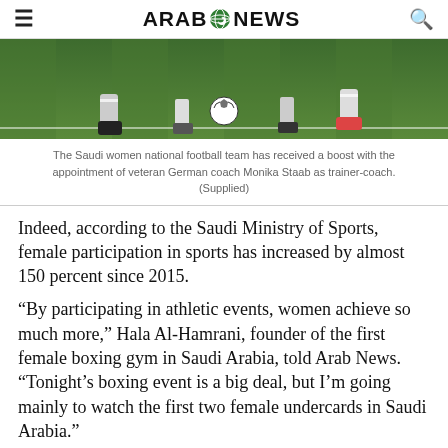ARAB NEWS
[Figure (photo): Soccer players on a grass field with a ball, legs visible, one player wearing red shoes]
The Saudi women national football team has received a boost with the appointment of veteran German coach Monika Staab as trainer-coach. (Supplied)
Indeed, according to the Saudi Ministry of Sports, female participation in sports has increased by almost 150 percent since 2015.
“By participating in athletic events, women achieve so much more,” Hala Al-Hamrani, founder of the first female boxing gym in Saudi Arabia, told Arab News. “Tonight’s boxing event is a big deal, but I’m going mainly to watch the first two female undercards in Saudi Arabia.”